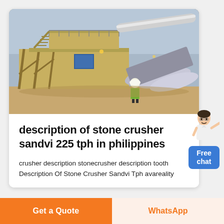[Figure (photo): Large industrial stone crusher / mining conveyor plant machinery at an outdoor site, with steel framework, conveyor belts, and a worker in high-visibility vest visible in the foreground.]
description of stone crusher sandvi 225 tph in philippines
crusher description stonecrusher description tooth Description Of Stone Crusher Sandvi Tph avareality